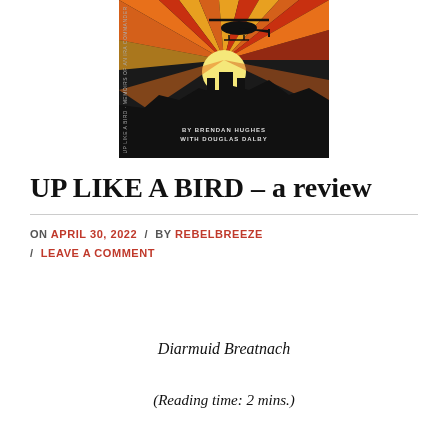[Figure (illustration): Book cover illustration for 'Up Like a Bird' by Brendan Hughes with Douglas Dalby. Features a helicopter silhouette against a dramatic sunset with orange, red, and yellow rays. A dark landscape/castle silhouette appears at the bottom. Text reads 'BY BRENDAN HUGHES WITH DOUGLAS DALBY'.]
UP LIKE A BIRD – a review
ON APRIL 30, 2022 / BY REBELBREEZE / LEAVE A COMMENT
Diarmuid Breatnach
(Reading time: 2 mins.)